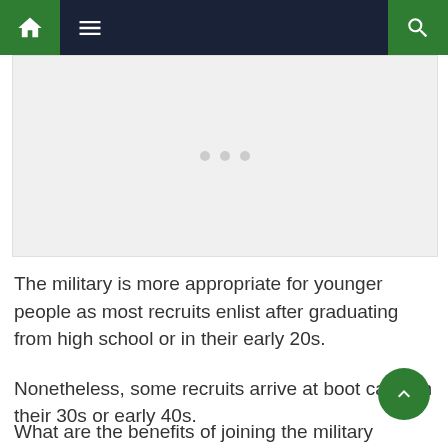Navigation bar with home, menu, and search icons
[Figure (other): Advertisement or image placeholder area with three dot indicators]
The military is more appropriate for younger people as most recruits enlist after graduating from high school or in their early 20s.
Nonetheless, some recruits arrive at boot camp in their 30s or early 40s.
What are the benefits of joining the military at 30?